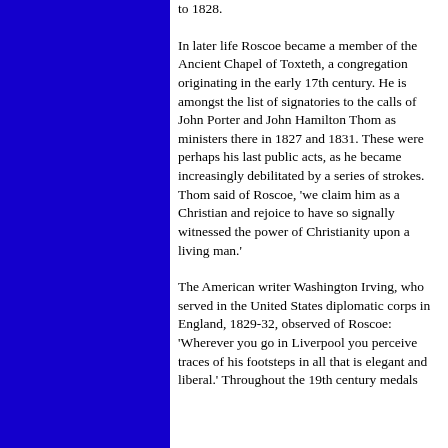to 1828.
In later life Roscoe became a member of the Ancient Chapel of Toxteth, a congregation originating in the early 17th century. He is amongst the list of signatories to the calls of John Porter and John Hamilton Thom as ministers there in 1827 and 1831. These were perhaps his last public acts, as he became increasingly debilitated by a series of strokes. Thom said of Roscoe, 'we claim him as a Christian and rejoice to have so signally witnessed the power of Christianity upon a living man.'
The American writer Washington Irving, who served in the United States diplomatic corps in England, 1829-32, observed of Roscoe: 'Wherever you go in Liverpool you perceive traces of his footsteps in all that is elegant and liberal.' Throughout the 19th century medals